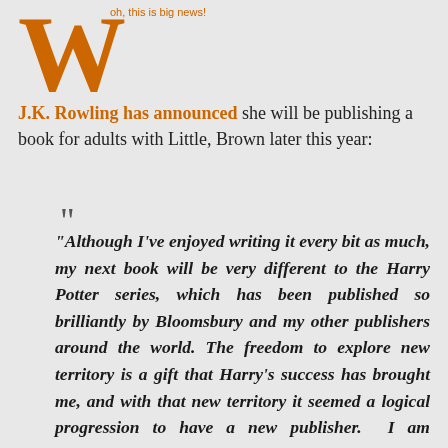oh, this is big news!
J.K. Rowling has announced she will be publishing a book for adults with Little, Brown later this year:
“Although I’ve enjoyed writing it every bit as much, my next book will be very different to the Harry Potter series, which has been published so brilliantly by Bloomsbury and my other publishers around the world. The freedom to explore new territory is a gift that Harry’s success has brought me, and with that new territory it seemed a logical progression to have a new publisher.  I am delighted to have a second publishing home in Little, Brown, and a publishing team that will be a great partner in this new phase of my writing life.”